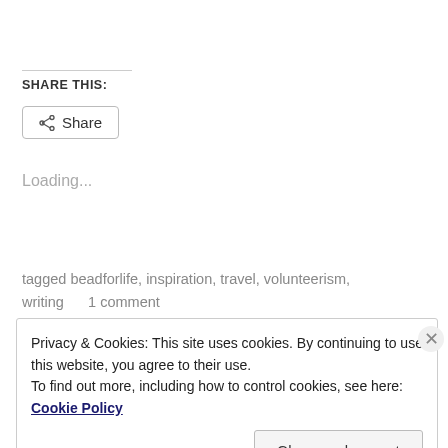SHARE THIS:
Share
Loading...
tagged beadforlife, inspiration, travel, volunteerism, writing     1 comment
Privacy & Cookies: This site uses cookies. By continuing to use this website, you agree to their use.
To find out more, including how to control cookies, see here: Cookie Policy
Close and accept